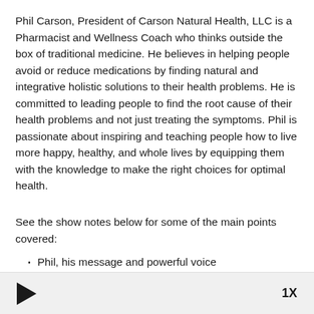Phil Carson, President of Carson Natural Health, LLC is a Pharmacist and Wellness Coach who thinks outside the box of traditional medicine. He believes in helping people avoid or reduce medications by finding natural and integrative holistic solutions to their health problems. He is committed to leading people to find the root cause of their health problems and not just treating the symptoms. Phil is passionate about inspiring and teaching people how to live more happy, healthy, and whole lives by equipping them with the knowledge to make the right choices for optimal health.
See the show notes below for some of the main points covered:
Phil, his message and powerful voice
[Figure (other): Audio player bar with play button triangle icon on left and '1X' speed label on right, on a light gray background]